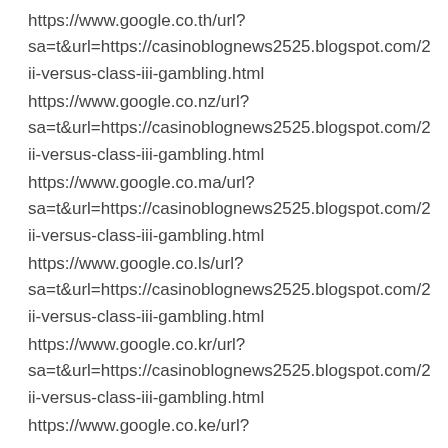https://www.google.co.th/url?
sa=t&url=https://casinoblognews2525.blogspot.com/2
ii-versus-class-iii-gambling.html
https://www.google.co.nz/url?
sa=t&url=https://casinoblognews2525.blogspot.com/2
ii-versus-class-iii-gambling.html
https://www.google.co.ma/url?
sa=t&url=https://casinoblognews2525.blogspot.com/2
ii-versus-class-iii-gambling.html
https://www.google.co.ls/url?
sa=t&url=https://casinoblognews2525.blogspot.com/2
ii-versus-class-iii-gambling.html
https://www.google.co.kr/url?
sa=t&url=https://casinoblognews2525.blogspot.com/2
ii-versus-class-iii-gambling.html
https://www.google.co.ke/url?